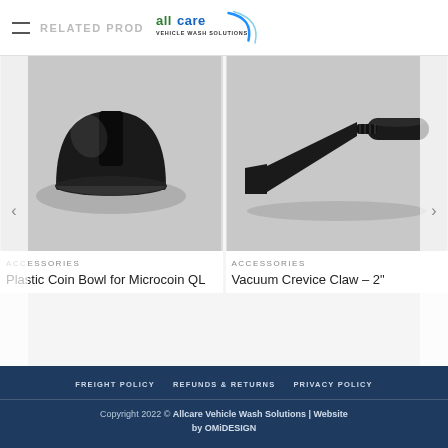RELATED PRODUCTS — Allcare Vehicle Wash Solutions
[Figure (photo): Plastic Coin Bowl for Microcoin QL – black semicircular plastic coin bowl accessory on grey background]
ACCESSORIES
Plastic Coin Bowl for Microcoin QL
[Figure (photo): Vacuum Crevice Claw 2 inch – black plastic crevice vacuum attachment on grey background]
ACCESSORIES
Vacuum Crevice Claw – 2"
FREIGHT POLICY   REFUNDS & RETURNS   PRIVACY POLICY
Copyright 2022 © Allcare Vehicle Wash Solutions | Website by OMiDESIGN